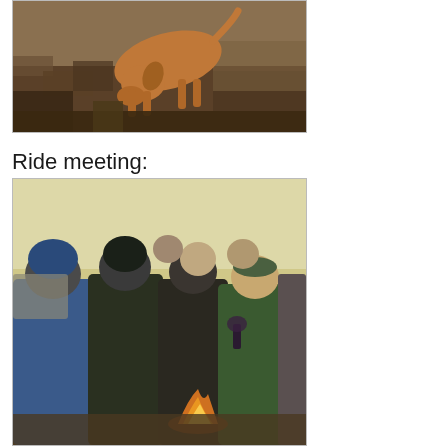[Figure (photo): A brown/tan dog bending down among dry brown heather or scrubland vegetation outdoors]
Ride meeting:
[Figure (photo): A group of people dressed in outdoor/cold weather gear standing around a small fire at an outdoor ride meeting event]